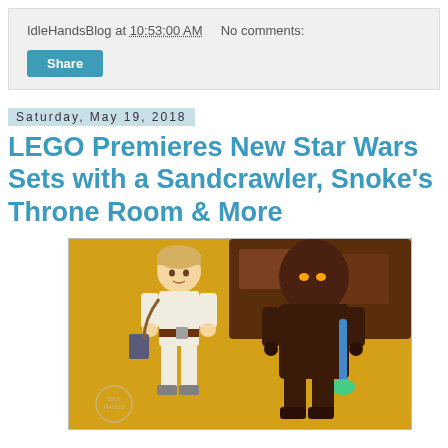IdleHandsBlog at 10:53:00 AM   No comments:
Share
Saturday, May 19, 2018
LEGO Premieres New Star Wars Sets with a Sandcrawler, Snoke's Throne Room & More
[Figure (photo): Two LEGO Star Wars minifigures on a yellow background: Luke Skywalker in white outfit holding items, and a Jawa in brown robe holding a blue lightsaber/weapon. A dark brown structure (Sandcrawler) is visible in the background.]